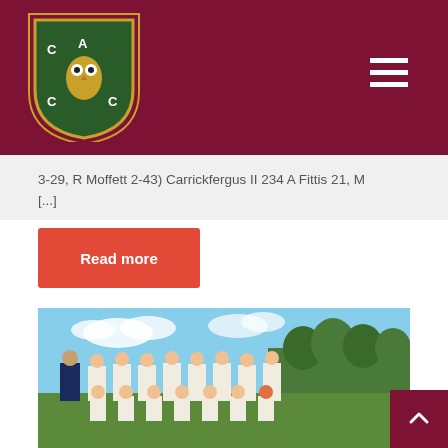Carrickfergus Cricket Club website header with logo and navigation menu
3-29, R Moffett 2-43) Carrickfergus II 234 A Fittis 21, M [...]
Read more
[Figure (photo): Group photo of a youth cricket team in white uniforms with maroon trim, posed outdoors on a cricket ground with trees in the background. A coach in dark sportswear stands to the left.]